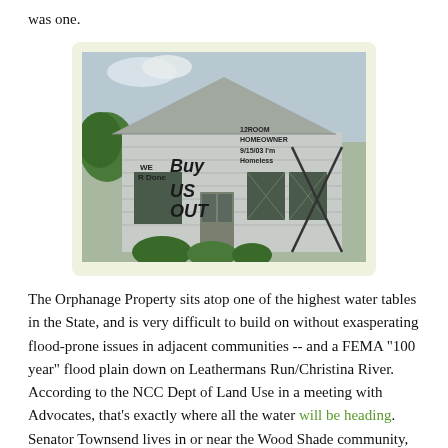was one.
[Figure (photo): A house with graffiti sprayed on its siding. Text on the house reads: 'WE R DONE', 'Buy US OUT', '12ROOM HOMEOWNER', '9/15/03 I'm Homeless']
The Orphanage Property sits atop one of the highest water tables in the State, and is very difficult to build on without exasperating flood-prone issues in adjacent communities -- and a FEMA "100 year" flood plain down on Leathermans Run/Christina River. According to the NCC Dept of Land Use in a meeting with Advocates, that's exactly where all the water will be heading. Senator Townsend lives in or near the Wood Shade community, adjacent to Leathermans; maybe karma will have a say after all, if his house